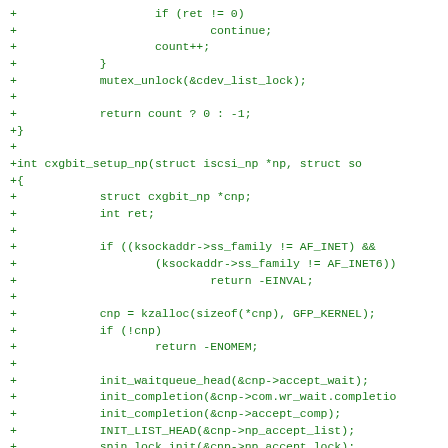Code diff showing cxgbit_setup_np function implementation in C